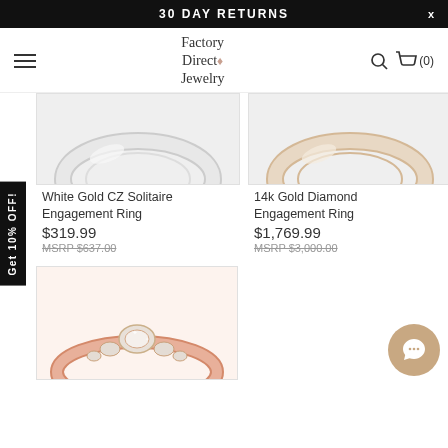30 DAY RETURNS
[Figure (logo): Factory Direct Jewelry logo with diamond icon]
[Figure (photo): White gold CZ solitaire ring close-up, silver band visible]
White Gold CZ Solitaire Engagement Ring
$319.99
MSRP $637.00
[Figure (photo): 14k Gold Diamond engagement ring close-up, gold band visible]
14k Gold Diamond Engagement Ring
$1,769.99
MSRP $3,000.00
[Figure (photo): Rose gold engagement ring with diamonds, three-stone style]
Get 10% OFF!